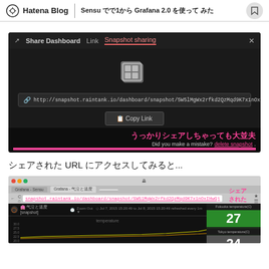Hatena Blog | Sensu で1から Grafana 2.0 を使って みた
[Figure (screenshot): Grafana Share Dashboard dialog showing Snapshot sharing tab with a snapshot URL and Copy Link button. Japanese text reads 'うっかりシェアしちゃっても大丈夫' with English 'Did you make a mistake? delete snapshot.']
シェアされた URL にアクセスしてみると...
[Figure (screenshot): Browser screenshot showing the shared Grafana snapshot URL in the address bar (highlighted in pink as 'シェアされた URL'), with the Grafana dashboard showing temperature graph and stat panels for Fukuoka temperature (27) and Tokyo temperature (24).]